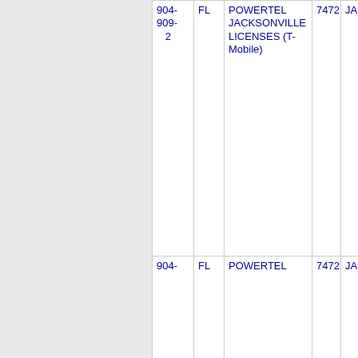| NPA-NXX | State | Company | LATA | City |
| --- | --- | --- | --- | --- |
| 904-909-2 | FL | POWERTEL JACKSONVILLE LICENSES (T-Mobile) | 7472 | JACK... |
| 904- | FL | POWERTEL | 7472 | JACK... |